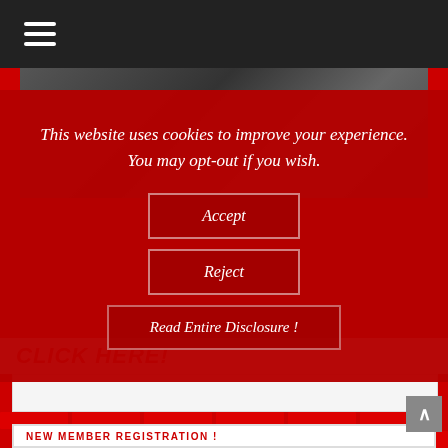Navigation menu (hamburger icon)
[Figure (photo): Dark grayscale hero image showing a crowd or group of people]
This website uses cookies to improve your experience. You may opt-out if you wish.
Accept
Reject
Read Entire Disclosure !
CLICK HERE!
NEW MEMBER REGISTRATION !